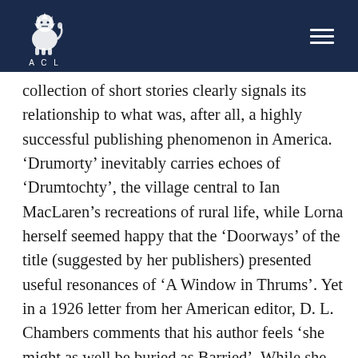ACL logo and navigation header
collection of short stories clearly signals its relationship to what was, after all, a highly successful publishing phenomenon in America. ‘Drumorty’ inevitably carries echoes of ‘Drumtochty’, the village central to Ian MacLaren’s recreations of rural life, while Lorna herself seemed happy that the ‘Doorways’ of the title (suggested by her publishers) presented useful resonances of ‘A Window in Thrums’. Yet in a 1926 letter from her American editor, D. L. Chambers comments that his author feels ‘she might as well be buried as Barried’. While she may have wished to profit by generic association, Moon certainly didn’t want to be seen as producing exactly the